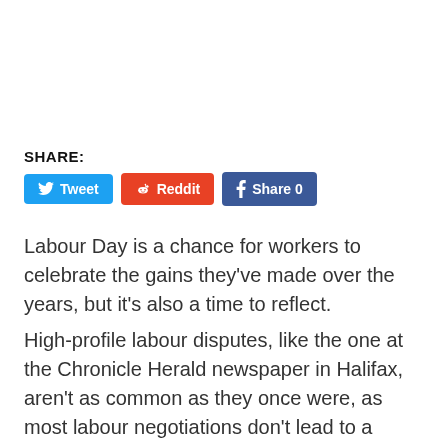SHARE:
[Figure (other): Social share buttons: Tweet (Twitter, blue), Reddit (orange), Share 0 (Facebook, blue)]
Labour Day is a chance for workers to celebrate the gains they've made over the years, but it's also a time to reflect.
High-profile labour disputes, like the one at the Chronicle Herald newspaper in Halifax, aren't as common as they once were, as most labour negotiations don't lead to a picket line anymore.